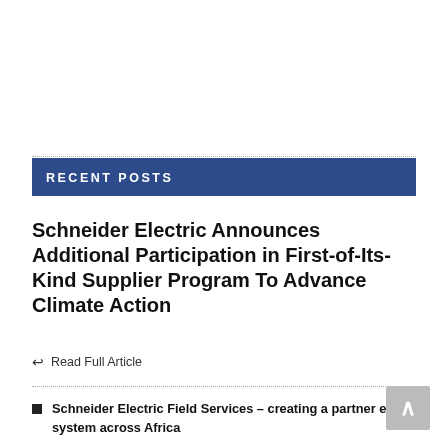RECENT POSTS
Schneider Electric Announces Additional Participation in First-of-Its-Kind Supplier Program To Advance Climate Action
Read Full Article
Schneider Electric Field Services – creating a partner eco-system across Africa
Schneider Electric to set up second manufacturing unit in Telangana
Playa del carmen – Fashion for exclusivity – Made in Mexico
Medical Aesthetics Market worth $15.9 billion by 2025 – Size Estimation and Analysis of Wide Range of Growth
Electric Motor Market to Grow $169.1 Billion by 2026